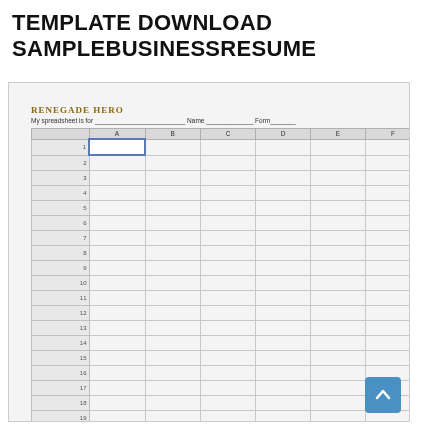TEMPLATE DOWNLOAD SAMPLEBUSINESSRESUME
[Figure (screenshot): Screenshot of a spreadsheet template from Renegade Hero website. Shows a blank spreadsheet with columns A through F and rows 1 through 19, with a header line reading 'My spreadsheet is for ___ Name ___ Form___'. The spreadsheet has column headers A, B, C, D, E, F and row numbers 1-19. Cell A1 is highlighted with a blue border.]